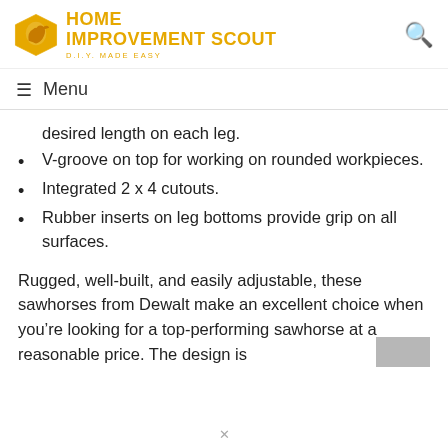HOME IMPROVEMENT SCOUT — D.I.Y. MADE EASY
Menu
desired length on each leg.
V-groove on top for working on rounded workpieces.
Integrated 2 x 4 cutouts.
Rubber inserts on leg bottoms provide grip on all surfaces.
Rugged, well-built, and easily adjustable, these sawhorses from Dewalt make an excellent choice when you're looking for a top-performing sawhorse at a reasonable price. The design is
×